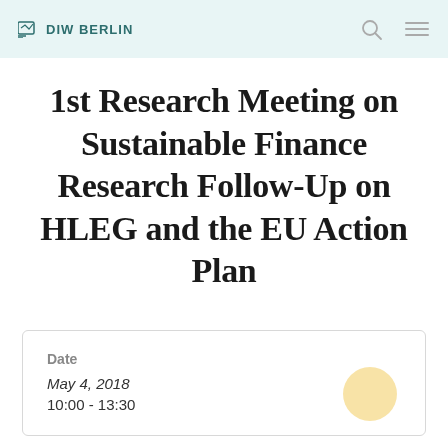DIW BERLIN
1st Research Meeting on Sustainable Finance Research Follow-Up on HLEG and the EU Action Plan
Date
May 4, 2018
10:00 - 13:30